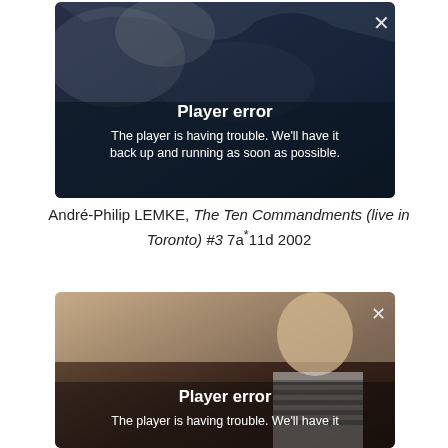[Figure (screenshot): Video player showing a player error overlay on a dark underwater/swimming scene background. White bold text reads 'Player error' and below 'The player is having trouble. We'll have it back up and running as soon as possible.' An X close button appears top-right.]
André-Philip LEMKE, The Ten Commandments (live in Toronto) #3 7a*11d 2002
[Figure (screenshot): Video player showing a player error overlay on a scene of a person in a striped shirt. White bold text reads 'Player error' and below 'The player is having trouble. We'll have it' (cut off). An X close button appears top-right.]